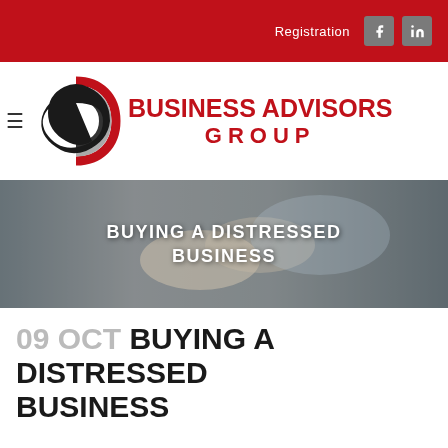Registration
[Figure (logo): Business Advisors Group logo with circular swoosh icon and red bold text]
[Figure (photo): Banner image of two people shaking hands with text overlay: BUYING A DISTRESSED BUSINESS]
09 OCT BUYING A DISTRESSED BUSINESS